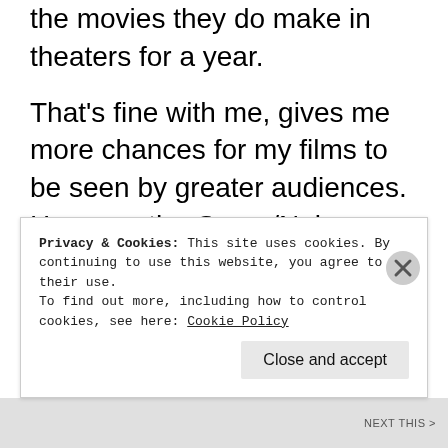the movies they do make in theaters for a year.
That's fine with me, gives me more chances for my films to be seen by greater audiences. However the Goyer/Nolan effect is taking great effect on DC. DC has long been known for their unwillingness to flinch when it comes to certain things about their characters. They even released a Mortal Kombat game with no
Privacy & Cookies: This site uses cookies. By continuing to use this website, you agree to their use.
To find out more, including how to control cookies, see here: Cookie Policy
Close and accept